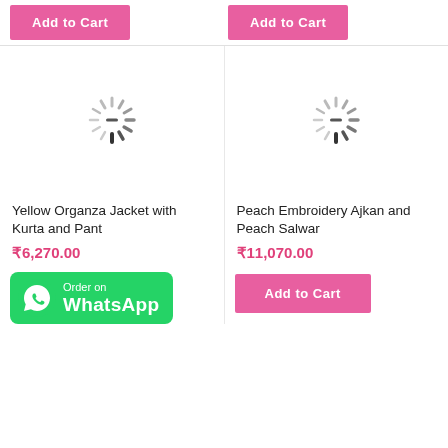[Figure (screenshot): E-commerce product listing page showing two products with loading spinners, prices in INR, and Add to Cart buttons. Products: Yellow Organza Jacket with Kurta and Pant at ₹6,270.00, and Peach Embroidery Ajkan and Peach Salwar at ₹11,070.00.]
Add to Cart
Add to Cart
Yellow Organza Jacket with Kurta and Pant
₹6,270.00
Order on WhatsApp
Peach Embroidery Ajkan and Peach Salwar
₹11,070.00
Add to Cart